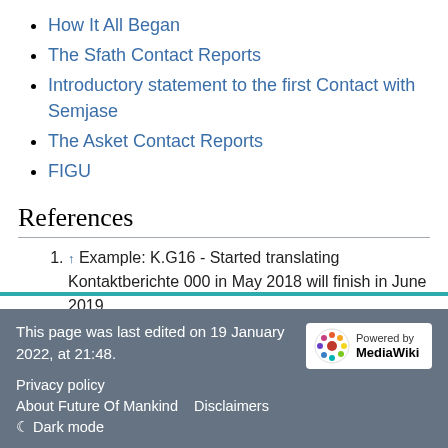How It All Began
The Sfath Contact Reports
Introductory statement to the first Contact with Semjase
The Asket Contact Reports
FIGU
References
↑ Example: K.G16 - Started translating Kontaktberichte 000 in May 2018 will finish in June 2019.
This page was last edited on 19 January 2022, at 21:48.
Privacy policy   About Future Of Mankind   Disclaimers
☾ Dark mode